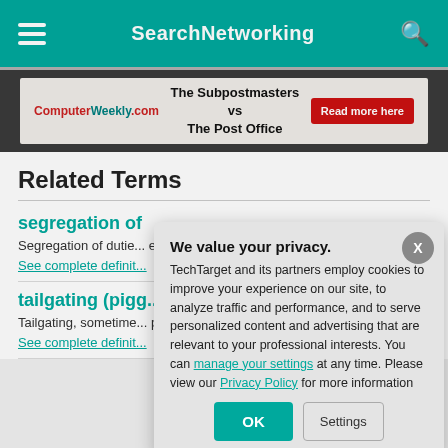SearchNetworking
[Figure (other): Advertisement banner for ComputerWeekly.com - The Subpostmasters vs The Post Office. Read more here.]
Related Terms
segregation of
Segregation of dutie... error and fraud by en...
See complete definit...
tailgating (pigg...
Tailgating, sometime... physical security bre...
See complete definit...
We value your privacy. TechTarget and its partners employ cookies to improve your experience on our site, to analyze traffic and performance, and to serve personalized content and advertising that are relevant to your professional interests. You can manage your settings at any time. Please view our Privacy Policy for more information